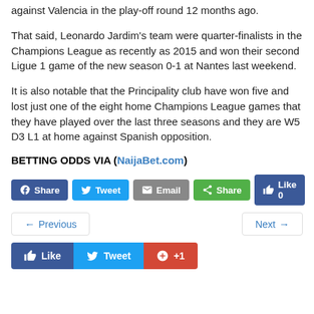against Valencia in the play-off round 12 months ago.
That said, Leonardo Jardim’s team were quarter-finalists in the Champions League as recently as 2015 and won their second Ligue 1 game of the new season 0-1 at Nantes last weekend.
It is also notable that the Principality club have won five and lost just one of the eight home Champions League games that they have played over the last three seasons and they are W5 D3 L1 at home against Spanish opposition.
BETTING ODDS VIA (NaijaBet.com)
[Figure (infographic): Social share buttons: Facebook Share, Tweet, Email, Share (green), Like 0 (Facebook blue)]
[Figure (infographic): Navigation buttons: Previous (left arrow) and Next (right arrow)]
[Figure (infographic): Bottom social buttons: Like (Facebook blue), Tweet (Twitter blue), +1 (Google+ red)]